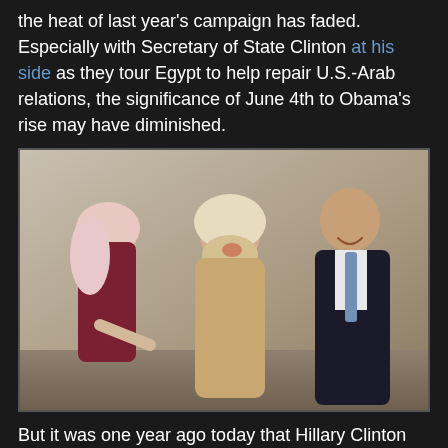the heat of last year's campaign has faded. Especially with Secretary of State Clinton at his side as they tour Egypt to help repair U.S.-Arab relations, the significance of June 4th to Obama's rise may have diminished.
[Figure (photo): Photo of three people standing together: a woman in a pink hijab on the left, a woman in a tan/cream hijab and tan coat in the center laughing, and a tall man in a dark suit with a blue tie on the right smiling broadly. They appear to be at an outdoor stone building.]
But it was one year ago today that Hillary Clinton announced plans to suspend her campaign for the Democratic